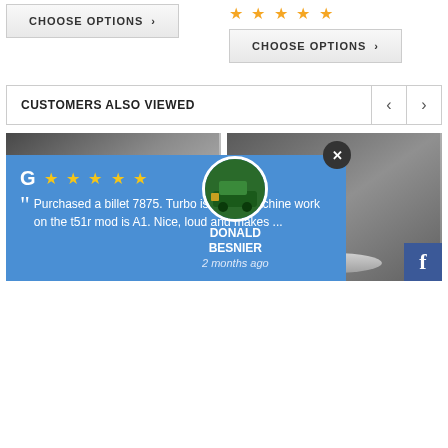[Figure (screenshot): E-commerce page section showing product options, ratings, customers also viewed section with two product images (silver connecting rod bracket and silver bolt/stud), and a Google review overlay popup]
CHOOSE OPTIONS >
★★★★★
CHOOSE OPTIONS >
CUSTOMERS ALSO VIEWED
[Figure (photo): Silver billet aluminum connecting rod or bracket part on dark surface]
[Figure (photo): Silver bolt or stud on circular base on dark surface]
Purchased a billet 7875. Turbo is great! Machine work on the t51r mod is A1. Nice, loud and makes ...
DONALD BESNIER
2 months ago